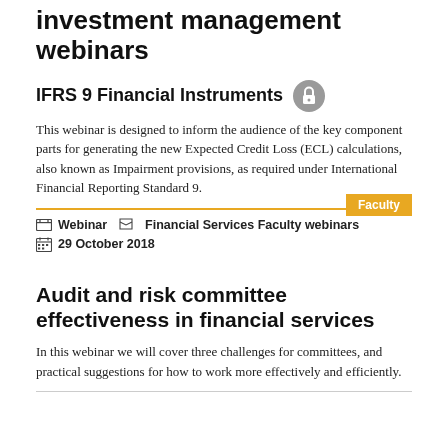investment management webinars
IFRS 9 Financial Instruments
This webinar is designed to inform the audience of the key component parts for generating the new Expected Credit Loss (ECL) calculations, also known as Impairment provisions, as required under International Financial Reporting Standard 9.
Faculty
Webinar   Financial Services Faculty webinars
29 October 2018
Audit and risk committee effectiveness in financial services
In this webinar we will cover three challenges for committees, and practical suggestions for how to work more effectively and efficiently.